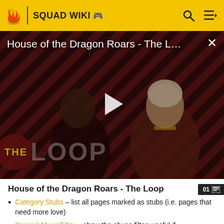SQUAD WIKI
[Figure (screenshot): House of the Dragon Roars - The Loop video thumbnail with play button overlay, showing two characters from the show against a striped dark red background, with 'THE LOOP' text overlay in bottom left]
House of the Dragon Roars - The Loop
Category:Stubs – list all pages marked as stubs (i.e. pages that need more love)
Special:AbuseFilter – show the abuse filter; useful if an editor seems to claim they are under strict editing conditions